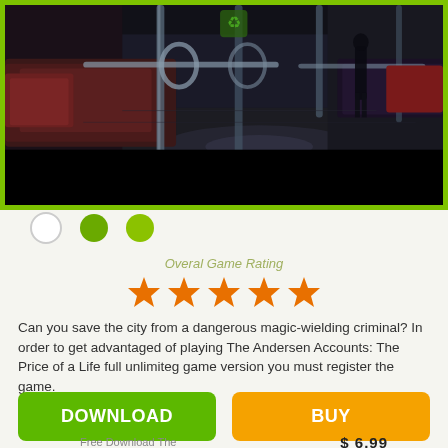[Figure (screenshot): Screenshot of a game scene showing the interior of a subway/train car with dark moody lighting, red seats visible on the left, metal poles, and a dark reflective floor. A figure is visible in the background. The image has a green border frame and a black bar at the bottom.]
[Figure (other): Three navigation dots: white/outlined dot, dark green dot, lighter green dot indicating image carousel position.]
Overal Game Rating
[Figure (other): Five orange star icons representing overall game rating (5 stars).]
Can you save the city from a dangerous magic-wielding criminal? In order to get advantaged of playing The Andersen Accounts: The Price of a Life full unlimiteg game version you must register the game.
DOWNLOAD
BUY
Free Download The
$ 6.99